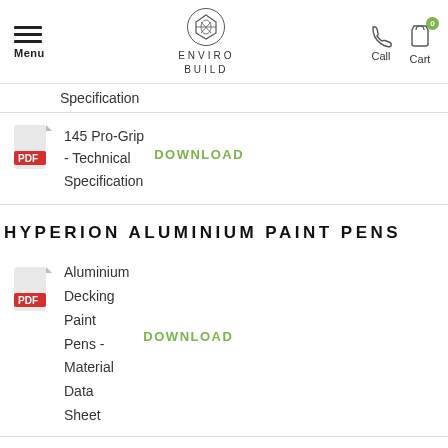Menu | ENVIRO BUILD | Call | Cart
Specification
145 Pro-Grip - Technical Specification  DOWNLOAD
HYPERION ALUMINIUM PAINT PENS
Aluminium Decking Paint Pens - Material Data Sheet  DOWNLOAD